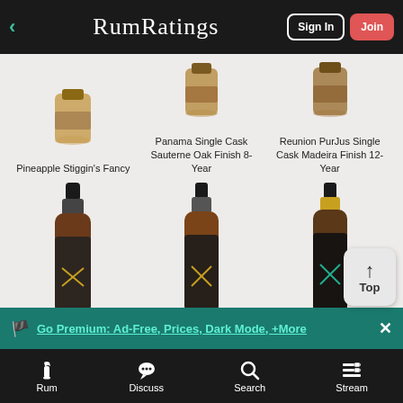RumRatings — Sign In / Join navigation
[Figure (screenshot): RumRatings app screenshot showing rum product listings with bottle images in a grid layout, premium upgrade banner, and bottom navigation bar]
Pineapple Stiggin's Fancy
Panama Single Cask Sauterne Oak Finish 8-Year
Reunion PurJus Single Cask Madeira Finish 12-Year
Go Premium: Ad-Free, Prices, Dark Mode, +More
Rum  Discuss  Search  Stream